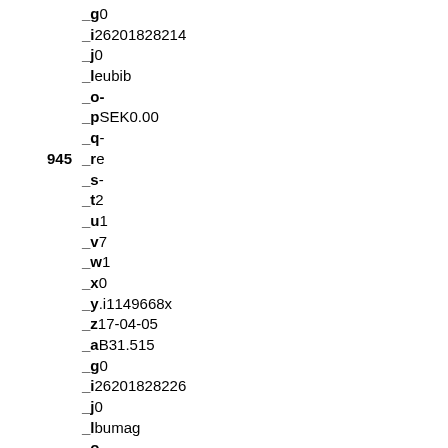_g0
_i26201828214
_j0
_leubib
_o-
_pSEK0.00
_q-
945  _re
_s-
_t2
_u1
_v7
_w1
_x0
_y.i1149668x
_z17-04-05
_aB31.515
_g0
_i26201828226
_j0
_lbumag
_o
_pSEK0.00
_q
945  _r